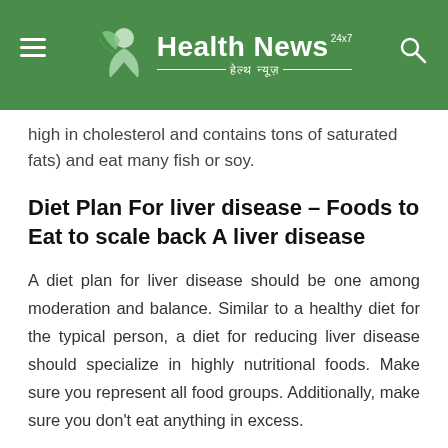Health News 24x7 - हेल्थ न्यूज़
high in cholesterol and contains tons of saturated fats) and eat many fish or soy.
Diet Plan For liver disease – Foods to Eat to scale back A liver disease
A diet plan for liver disease should be one among moderation and balance. Similar to a healthy diet for the typical person, a diet for reducing liver disease should specialize in highly nutritional foods. Make sure you represent all food groups. Additionally, make sure you don't eat anything in excess.